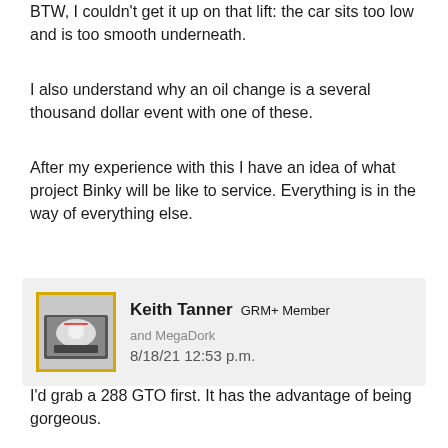BTW, I couldn't get it up on that lift: the car sits too low and is too smooth underneath.
I also understand why an oil change is a several thousand dollar event with one of these.
After my experience with this I have an idea of what project Binky will be like to service. Everything is in the way of everything else.
Keith Tanner  GRM+ Member  and MegaDork
8/18/21 12:53 p.m.
I'd grab a 288 GTO first. It has the advantage of being gorgeous.